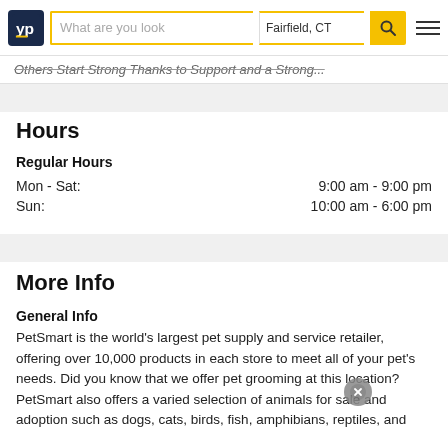YP | What are you look... | Fairfield, CT | [search] [menu]
Others Start Strong Thanks to Support and a Strong...
Hours
Regular Hours
Mon - Sat: 9:00 am - 9:00 pm
Sun: 10:00 am - 6:00 pm
More Info
General Info
PetSmart is the world’s largest pet supply and service retailer, offering over 10,000 products in each store to meet all of your pet’s needs. Did you know that we offer pet grooming at this location? PetSmart also offers a varied selection of animals for sale and adoption such as dogs, cats, birds, fish, amphibians, reptiles, and